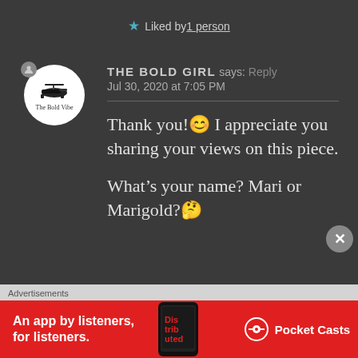★ Liked by 1 person
THE BOLD GIRL says: Reply
Jul 30, 2020 at 7:05 PM

Thank you!😊 I appreciate you sharing your views on this piece.

What's your name? Mari or Marigold?🤔
Advertisements
[Figure (infographic): Red advertisement banner for Pocket Casts: An app by listeners, for listeners. Shows a phone with the app and the Pocket Casts logo.]